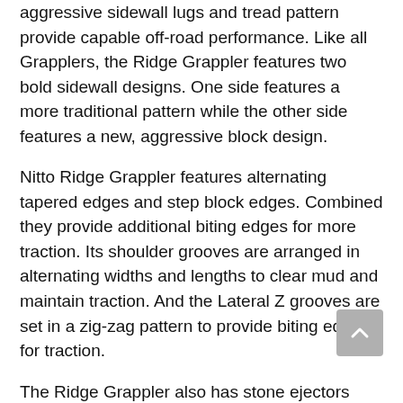aggressive sidewall lugs and tread pattern provide capable off-road performance. Like all Grapplers, the Ridge Grappler features two bold sidewall designs. One side features a more traditional pattern while the other side features a new, aggressive block design.
Nitto Ridge Grappler features alternating tapered edges and step block edges. Combined they provide additional biting edges for more traction. Its shoulder grooves are arranged in alternating widths and lengths to clear mud and maintain traction. And the Lateral Z grooves are set in a zig-zag pattern to provide biting edges for traction.
The Ridge Grappler also has stone ejectors